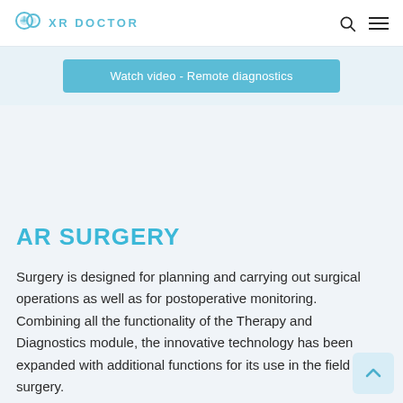XR DOCTOR
Watch video - Remote diagnostics
AR SURGERY
Surgery is designed for planning and carrying out surgical operations as well as for postoperative monitoring. Combining all the functionality of the Therapy and Diagnostics module, the innovative technology has been expanded with additional functions for its use in the field of surgery.